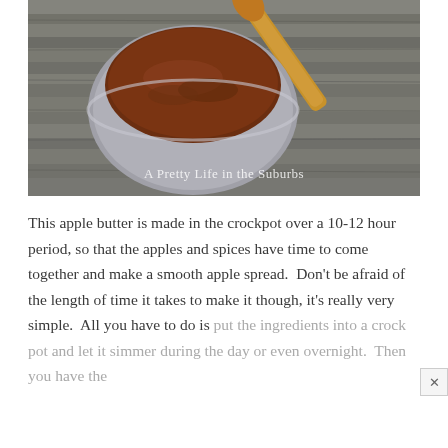[Figure (photo): A metal bowl or ramekin filled with dark brown apple butter, with a wooden spoon resting on the right side, all placed on a weathered grey wooden surface. The blog watermark 'A Pretty Life in the Suburbs' is visible at the bottom of the image.]
This apple butter is made in the crockpot over a 10-12 hour period, so that the apples and spices have time to come together and make a smooth apple spread.  Don't be afraid of the length of time it takes to make it though, it's really very simple.  All you have to do is put the ingredients into a crock pot and let it simmer during the day or even overnight.  Then you have the